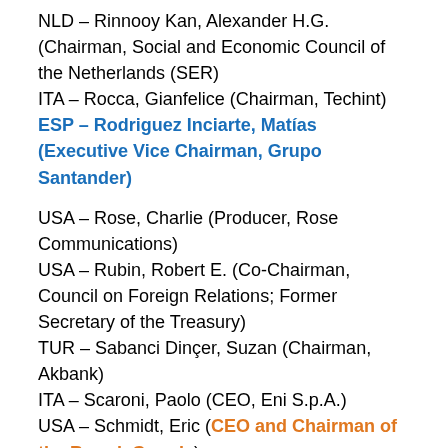NLD – Rinnooy Kan, Alexander H.G. (Chairman, Social and Economic Council of the Netherlands (SER)
ITA – Rocca, Gianfelice (Chairman, Techint)
ESP – Rodriguez Inciarte, Matías (Executive Vice Chairman, Grupo Santander)
USA – Rose, Charlie (Producer, Rose Communications)
USA – Rubin, Robert E. (Co-Chairman, Council on Foreign Relations; Former Secretary of the Treasury)
TUR – Sabanci Dinçer, Suzan (Chairman, Akbank)
ITA – Scaroni, Paolo (CEO, Eni S.p.A.)
USA – Schmidt, Eric (CEO and Chairman of the Board, Google)
AUT – Scholten, Rudolf (Member of the Board of Executive Directors, Oesterreichische Kontrollbank AG)
DEU – Scholz, Olaf (Vice Chairman, SPD)
INT – Sheeran, Josette (Executive Director, United